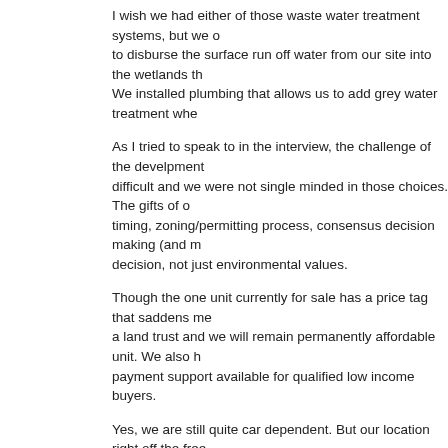I wish we had either of those waste water treatment systems, but we only had to disburse the surface run off water from our site into the wetlands there. We installed plumbing that allows us to add grey water treatment whe...
As I tried to speak to in the interview, the challenge of the develpment was difficult and we were not single minded in those choices. The gifts of our timing, zoning/permitting process, consensus decision making (and m... decision, not just environmental values.
Though the one unit currently for sale has a price tag that saddens me, it is a land trust and we will remain permanently affordable unit. We also h... payment support available for qualified low income buyers.
Yes, we are still quite car dependent. But our location right off the free... and the bus route makes alternate transportation quite convenient. Ma... walk to downtown (4 miles away), into Fairhaven (1+ miles away), We... University (-2 miles away) or the other side of town (6 miles away). Th... the standard number of parking places. Our intention is to let the press... parking remind us to use alternative transportation. I definitely see a c... – right now we do a lot of car pooling and car sharing as well.
Thanks for your comments!
Reply